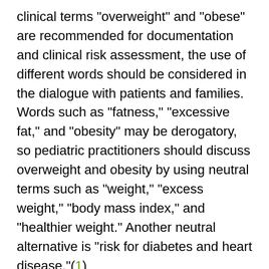clinical terms "overweight" and "obese" are recommended for documentation and clinical risk assessment, the use of different words should be considered in the dialogue with patients and families. Words such as "fatness," "excessive fat," and "obesity" may be derogatory, so pediatric practitioners should discuss overweight and obesity by using neutral terms such as "weight," "excess weight," "body mass index," and "healthier weight." Another neutral alternative is "risk for diabetes and heart disease."(1)
Successful treatment of overweight children depends on the cooperation of not only the child but also the child's family. The importance of a family-based management strategy cannot be overemphasized. Thus, before initiating therapy, it is important to determine the family's therapeutic readiness. The clinician should assess parental perceptions about their child's weight. Specific questions to measure the family's knowledge, culture, and